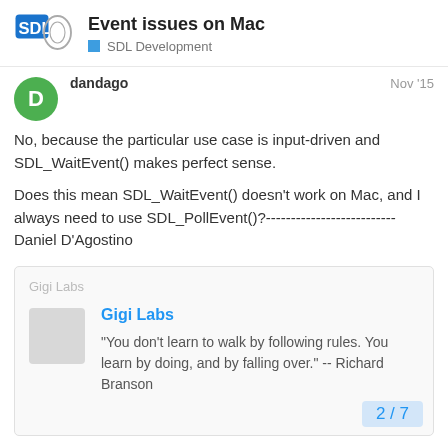Event issues on Mac — SDL Development
dandago — Nov '15
No, because the particular use case is input-driven and SDL_WaitEvent() makes perfect sense.

Does this mean SDL_WaitEvent() doesn't work on Mac, and I always need to use SDL_PollEvent()?--------------------------
Daniel D'Agostino
Gigi Labs

Gigi Labs

"You don't learn to walk by following rules. You learn by doing, and by falling over." -- Richard Branson
2 / 7